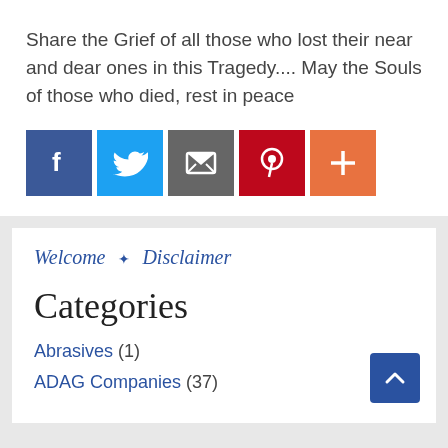Share the Grief of all those who lost their near and dear ones in this Tragedy.... May the Souls of those who died, rest in peace
[Figure (infographic): Row of social sharing icon buttons: Facebook (blue), Twitter (light blue), Email/envelope (grey), Pinterest (red), More/plus (orange-red)]
Welcome  ✦  Disclaimer
Categories
Abrasives (1)
ADAG Companies (37)